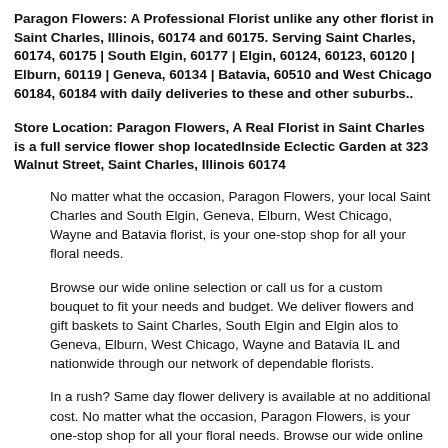Paragon Flowers: A Professional Florist unlike any other florist in Saint Charles, Illinois, 60174 and 60175. Serving Saint Charles, 60174, 60175 | South Elgin, 60177 | Elgin, 60124, 60123, 60120 | Elburn, 60119 | Geneva, 60134 | Batavia, 60510 and West Chicago 60184, 60184 with daily deliveries to these and other suburbs..
Store Location: Paragon Flowers, A Real Florist in Saint Charles is a full service flower shop locatedInside Eclectic Garden at 323 Walnut Street, Saint Charles, Illinois 60174
No matter what the occasion, Paragon Flowers, your local Saint Charles and South Elgin, Geneva, Elburn, West Chicago, Wayne and Batavia florist, is your one-stop shop for all your floral needs.
Browse our wide online selection or call us for a custom bouquet to fit your needs and budget. We deliver flowers and gift baskets to Saint Charles, South Elgin and Elgin alos to Geneva, Elburn, West Chicago, Wayne and Batavia IL and nationwide through our network of dependable florists.
In a rush? Same day flower delivery is available at no additional cost. No matter what the occasion, Paragon Flowers, is your one-stop shop for all your floral needs. Browse our wide online selection or call us for